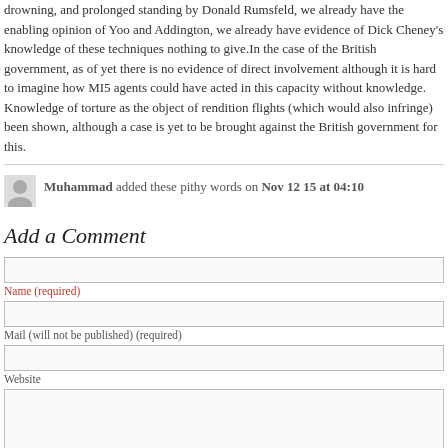drowning, and prolonged standing by Donald Rumsfeld, we already have the enabling opinion of Yoo and Addington, we already have evidence of Dick Cheney's knowledge of these techniques nothing to give. In the case of the British government, as of yet there is no evidence of direct involvement although it is hard to imagine how MI5 agents could have acted in this capacity without knowledge. Knowledge of torture as the object of rendition flights (which would also infringe) been shown, although a case is yet to be brought against the British government for this.
Muhammad added these pithy words on Nov 12 15 at 04:10
Add a Comment
Name (required)
Mail (will not be published) (required)
Website